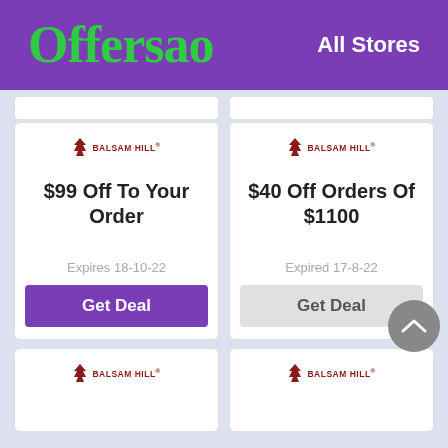Offersao — All Stores
[Figure (logo): Balsam Hill brand logo, small tree icon with red text]
$99 Off To Your Order
Expires 18-10-22
Get Deal
[Figure (logo): Balsam Hill brand logo, small tree icon with red text]
$40 Off Orders Of $1100
Expired 17-8-22
Get Deal